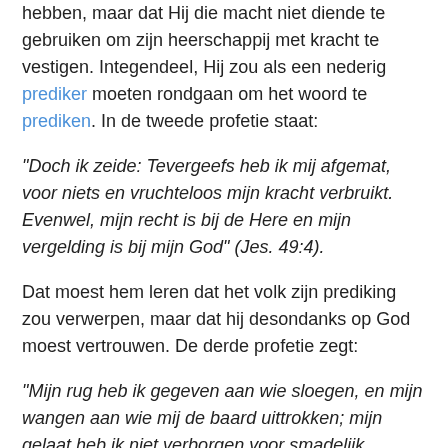hebben, maar dat Hij die macht niet diende te gebruiken om zijn heerschappij met kracht te vestigen. Integendeel, Hij zou als een nederig prediker moeten rondgaan om het woord te prediken. In de tweede profetie staat:
“Doch ik zeide: Tevergeefs heb ik mij afgemat, voor niets en vruchteloos mijn kracht verbruikt. Evenwel, mijn recht is bij de Here en mijn vergelding is bij mijn God” (Jes. 49:4).
Dat moest hem leren dat het volk zijn prediking zou verwerpen, maar dat hij desondanks op God moest vertrouwen. De derde profetie zegt:
“Mijn rug heb ik gegeven aan wie sloegen, en mijn wangen aan wie mij de baard uittrokken; mijn gelaat heb ik niet verborgen voor smadelijk speeksel” (Jes. 50:6).
Dat leerde hem dat hij om zijn prediking zou worden